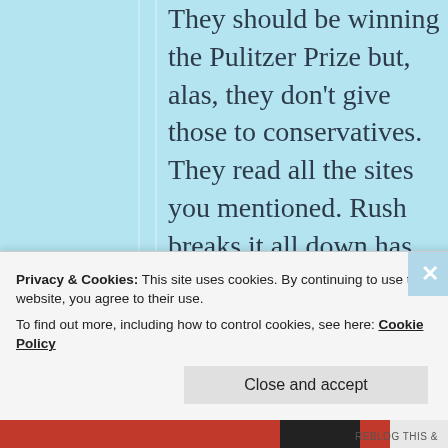They should be winning the Pulitzer Prize but, alas, they don't give those to conservatives. They read all the sites you mentioned. Rush breaks it all down has been 99.6 % correct in his
Privacy & Cookies: This site uses cookies. By continuing to use this website, you agree to their use.
To find out more, including how to control cookies, see here: Cookie Policy
Close and accept